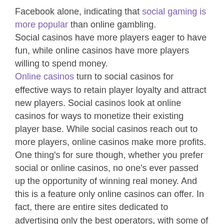Facebook alone, indicating that social gaming is more popular than online gambling. Social casinos have more players eager to have fun, while online casinos have more players willing to spend money. Online casinos turn to social casinos for effective ways to retain player loyalty and attract new players. Social casinos look at online casinos for ways to monetize their existing player base. While social casinos reach out to more players, online casinos make more profits. One thing's for sure though, whether you prefer social or online casinos, no one's ever passed up the opportunity of winning real money. And this is a feature only online casinos can offer. In fact, there are entire sites dedicated to advertising only the best operators, with some of the latest and virtually unbeatable bonuses. But don't take our word for it, if you visit www.nodepositfan.com you can get a glimpse of what we mean. Here are three things that set social and online casinos apart: